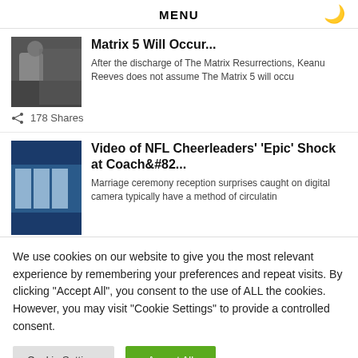MENU
Matrix 5 Will Occur...
After the discharge of The Matrix Resurrections, Keanu Reeves does not assume The Matrix 5 will occu
178 Shares
Video of NFL Cheerleaders' 'Epic' Shock at Coach&#82...
Marriage ceremony reception surprises caught on digital camera typically have a method of circulatin
We use cookies on our website to give you the most relevant experience by remembering your preferences and repeat visits. By clicking “Accept All”, you consent to the use of ALL the cookies. However, you may visit "Cookie Settings" to provide a controlled consent.
Cookie Settings | Accept All